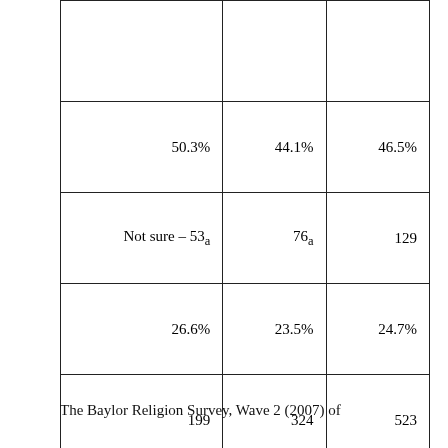|  |  |  |
| 50.3% | 44.1% | 46.5% |
| Not sure – 53a | 76a | 129 |
| 26.6% | 23.5% | 24.7% |
| 199 | 324 | 523 |
| 100.0% | 100.0% | 100.0% |
The Baylor Religion Survey, Wave 2 (2007) of